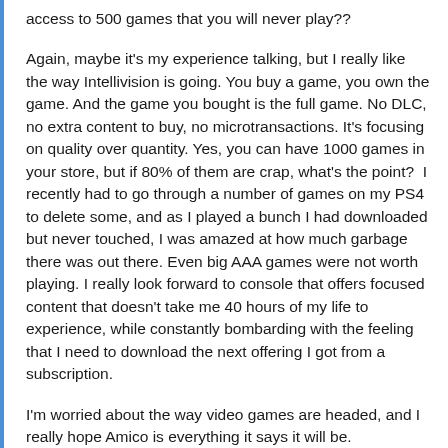access to 500 games that you will never play??
Again, maybe it's my experience talking, but I really like the way Intellivision is going. You buy a game, you own the game. And the game you bought is the full game. No DLC, no extra content to buy, no microtransactions. It's focusing on quality over quantity. Yes, you can have 1000 games in your store, but if 80% of them are crap, what's the point?  I recently had to go through a number of games on my PS4 to delete some, and as I played a bunch I had downloaded but never touched, I was amazed at how much garbage there was out there. Even big AAA games were not worth playing. I really look forward to console that offers focused content that doesn't take me 40 hours of my life to experience, while constantly bombarding with the feeling that I need to download the next offering I got from a subscription.
I'm worried about the way video games are headed, and I really hope Amico is everything it says it will be.